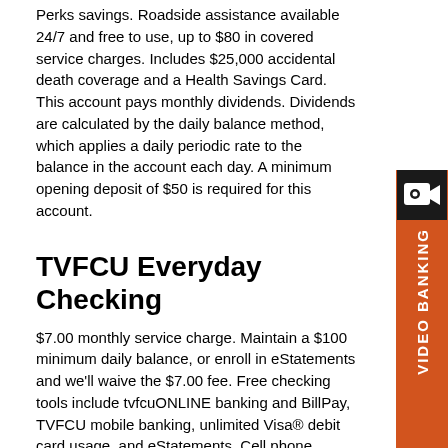Perks savings. Roadside assistance available 24/7 and free to use, up to $80 in covered service charges. Includes $25,000 accidental death coverage and a Health Savings Card. This account pays monthly dividends. Dividends are calculated by the daily balance method, which applies a daily periodic rate to the balance in the account each day. A minimum opening deposit of $50 is required for this account.
TVFCU Everyday Checking
$7.00 monthly service charge. Maintain a $100 minimum daily balance, or enroll in eStatements and we'll waive the $7.00 fee. Free checking tools include tvfcuONLINE banking and BillPay, TVFCU mobile banking, unlimited Visa® debit card usage, and eStatements. Cell phone protection - receive up to $200 per claim (one claim per year) if your cell phone is broken or stolen. ID theft aid includes payment card fraud resolution, $1,000 in personal identity theft benefit and identity restoration. Buyer's protection and extended warranty protects newly purchased items for up to $2,500 per item if theft or accidental breakage occurs during the first 90 days of purchase, when purchased using your TVFCU Everyday
[Figure (other): Orange vertical sidebar with a video camera icon and 'VIDEO BANKING' text rotated vertically]